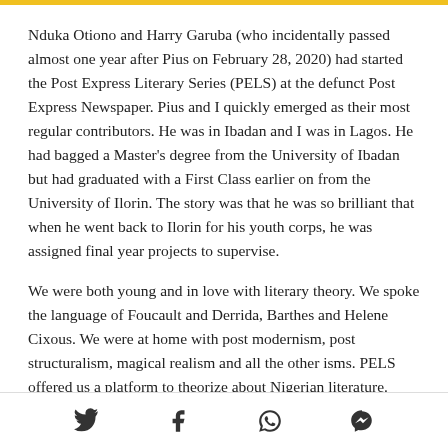Nduka Otiono and Harry Garuba (who incidentally passed almost one year after Pius on February 28, 2020) had started the Post Express Literary Series (PELS) at the defunct Post Express Newspaper. Pius and I quickly emerged as their most regular contributors. He was in Ibadan and I was in Lagos. He had bagged a Master’s degree from the University of Ibadan but had graduated with a First Class earlier on from the University of Ilorin. The story was that he was so brilliant that when he went back to Ilorin for his youth corps, he was assigned final year projects to supervise.
We were both young and in love with literary theory. We spoke the language of Foucault and Derrida, Barthes and Helene Cixous. We were at home with post modernism, post structuralism, magical realism and all the other isms. PELS offered us a platform to theorize about Nigerian literature.
Social share icons: Twitter, Facebook, WhatsApp, Messenger